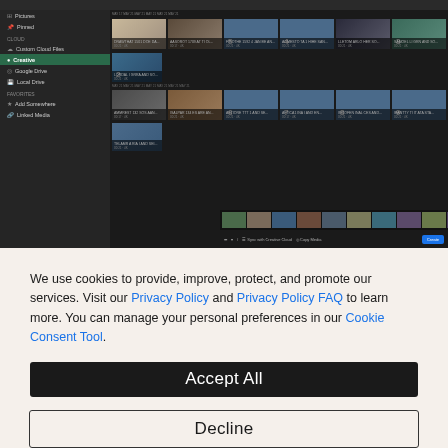[Figure (screenshot): Screenshot of a dark-themed video/media management application (likely Adobe) showing a grid of video thumbnails with numbered overlays (2-9), a left sidebar with navigation items (Pictures, Pinned, Cloud, Custom Cloud Files, Creative Cloud, Google Drive, Local Drive, Favorites, Add Somewhere, Linked Media), a filmstrip of thumbnails at the bottom, and a toolbar with sync options and a Create button.]
We use cookies to provide, improve, protect, and promote our services. Visit our Privacy Policy and Privacy Policy FAQ to learn more. You can manage your personal preferences in our Cookie Consent Tool.
Accept All
Decline